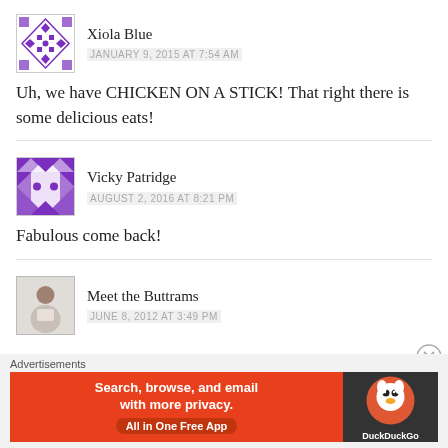Xiola Blue
JANUARY 9, 2015 AT 7:54 AM
Uh, we have CHICKEN ON A STICK! That right there is some delicious eats!
Vicky Patridge
AUGUST 2, 2016 AT 8:21 PM
Fabulous come back!
Meet the Buttrams
JUNE 8, 2012 AT 3:49 PM
[Figure (infographic): DuckDuckGo advertisement banner: orange background with text 'Search, browse, and email with more privacy. All in One Free App' and DuckDuckGo logo on dark background]
Advertisements